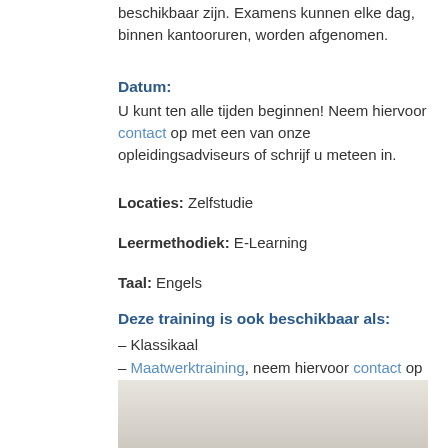beschikbaar zijn. Examens kunnen elke dag, binnen kantooruren, worden afgenomen.
Datum:
U kunt ten alle tijden beginnen! Neem hiervoor contact op met een van onze opleidingsadviseurs of schrijf u meteen in.
Locaties: Zelfstudie
Leermethodiek: E-Learning
Taal: Engels
Deze training is ook beschikbaar als:
– Klassikaal
– Maatwerktraining, neem hiervoor contact op met een van onze opleidingsadviseurs.
Voor veelgestelde vragen tijdens het bestelproces, bekijk onze F.A.Q. pagina.
[Figure (photo): Light-colored photo, partially visible at the bottom of the page]